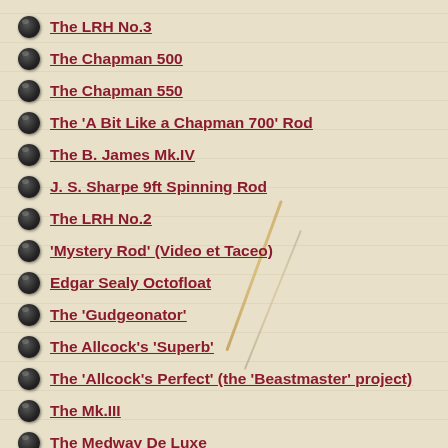The LRH No.3
The Chapman 500
The Chapman 550
The 'A Bit Like a Chapman 700' Rod
The B. James Mk.IV
J. S. Sharpe 9ft Spinning Rod
The LRH No.2
'Mystery Rod' (Video et Taceo)
Edgar Sealy Octofloat
The 'Gudgeonator'
The Allcock's 'Superb'
The 'Allcock's Perfect' (the 'Beastmaster' project)
The Mk.III
The Medway De Luxe